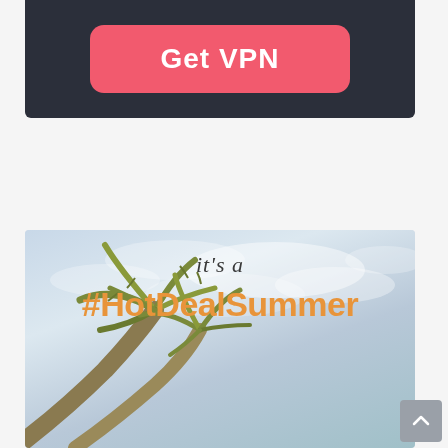[Figure (other): Dark navy banner with a pink/red rounded button labeled 'Get VPN']
[Figure (infographic): Summer promotional image with sky and palm trees background. Text reads 'it's a #HotDealSummer' in dark and orange fonts.]